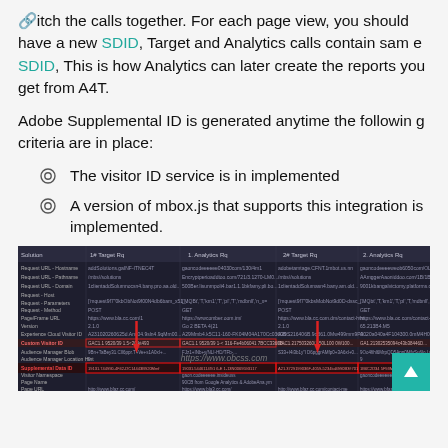itch the calls together. For each page view, you should have a new SDID, Target and Analytics calls contain same SDID, This is how Analytics can later create the reports you get from A4T.
Adobe Supplemental ID is generated anytime the following criteria are in place:
The visitor ID service is in implemented
A version of mbox.js that supports this integration is implemented.
[Figure (screenshot): Dark-background screenshot of a network/analytics comparison table showing Target and Analytics call columns with highlighted rows (Supplemental Data ID row highlighted in red) and red arrows pointing to key fields. A watermark 'https://www.obcss.com' overlays the image.]